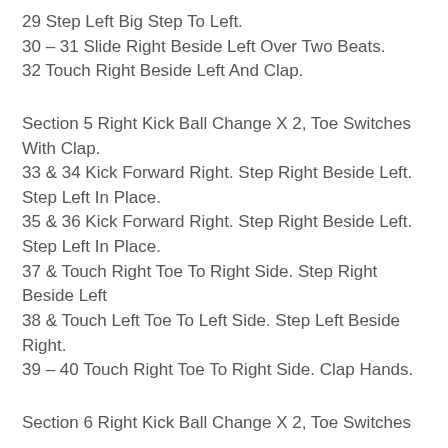29 Step Left Big Step To Left.
30 – 31 Slide Right Beside Left Over Two Beats.
32 Touch Right Beside Left And Clap.
Section 5 Right Kick Ball Change X 2, Toe Switches With Clap.
33 & 34 Kick Forward Right. Step Right Beside Left. Step Left In Place.
35 & 36 Kick Forward Right. Step Right Beside Left. Step Left In Place.
37 & Touch Right Toe To Right Side. Step Right Beside Left
38 & Touch Left Toe To Left Side. Step Left Beside Right.
39 – 40 Touch Right Toe To Right Side. Clap Hands.
Section 6 Right Kick Ball Change X 2, Toe Switches